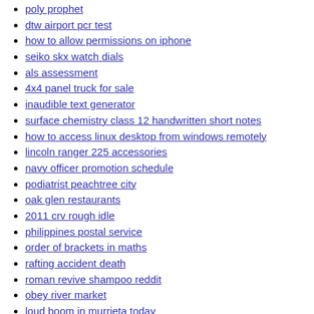poly prophet
dtw airport pcr test
how to allow permissions on iphone
seiko skx watch dials
als assessment
4x4 panel truck for sale
inaudible text generator
surface chemistry class 12 handwritten short notes
how to access linux desktop from windows remotely
lincoln ranger 225 accessories
navy officer promotion schedule
podiatrist peachtree city
oak glen restaurants
2011 crv rough idle
philippines postal service
order of brackets in maths
rafting accident death
roman revive shampoo reddit
obey river market
loud boom in murrieta today
my husband has stopped coming to bed
winegard gateway setup
fleas 1v1 edit course
spectrum silver package channels
maggard funeral home obituaries